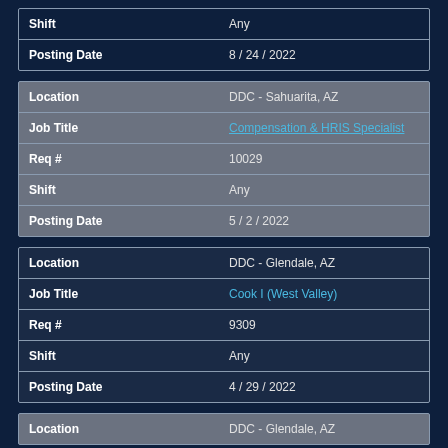| Field | Value |
| --- | --- |
| Shift | Any |
| Posting Date | 8 / 24 / 2022 |
| Field | Value |
| --- | --- |
| Location | DDC - Sahuarita, AZ |
| Job Title | Compensation & HRIS Specialist |
| Req # | 10029 |
| Shift | Any |
| Posting Date | 5 / 2 / 2022 |
| Field | Value |
| --- | --- |
| Location | DDC - Glendale, AZ |
| Job Title | Cook I (West Valley) |
| Req # | 9309 |
| Shift | Any |
| Posting Date | 4 / 29 / 2022 |
| Field | Value |
| --- | --- |
| Location | DDC - Glendale, AZ |